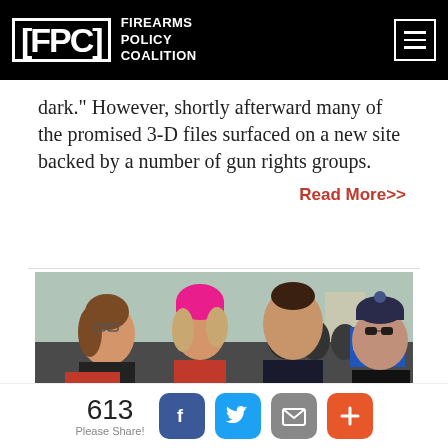FPC FIREARMS POLICY COALITION
dark.” However, shortly afterward many of the promised 3-D files surfaced on a new site backed by a number of gun rights groups.
Read More>>
[Figure (photo): Group photo of four people smiling at an outdoor rally or march. A woman with glasses on the left, a woman in a pink knit hat in the center-left, a man in a dark jacket center-right, and a man with sunglasses and dark hat on the right. Signs including EXPECT US visible in foreground.]
613
Please Share!